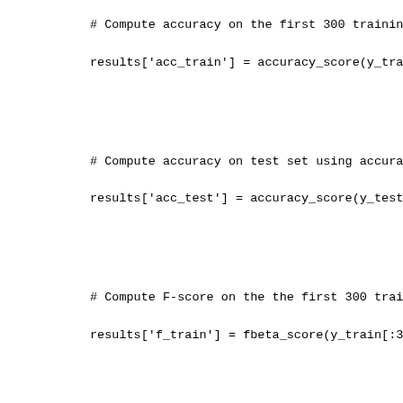# Compute accuracy on the first 300 training samples
results['acc_train'] = accuracy_score(y_train[:300],

# Compute accuracy on test set using accuracy_score
results['acc_test'] = accuracy_score(y_test, predict

# Compute F-score on the the first 300 training samp
results['f_train'] = fbeta_score(y_train[:300], pre

# Compute F-score on the test set which is y_test
results['f_test'] = fbeta_score(y_test, predictions_

# Success
print("{} trained on {} samples.".format(learner.__c

# Return the results